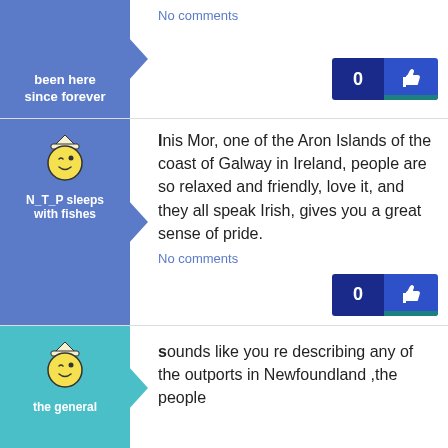[Figure (screenshot): Social media comment interface showing user posts with avatars, usernames, post text, No comments links, and like buttons]
been here since forever
No comments
0
N_T_P sleeps with fishes
Inis Mor, one of the Aron Islands of the coast of Galway in Ireland, people are so relaxed and friendly, love it, and they all speak Irish, gives you a great sense of pride.
No comments
0
the general
Sounds like you re describing any of the outports in Newfoundland ,the people